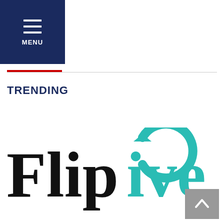[Figure (logo): Navigation menu bar with dark navy background, hamburger icon (three horizontal lines) and 'MENU' text in white]
[Figure (logo): FlipGive logo — 'Flip' in black serif font and 'Give' in teal/cyan color with a circular arrow replacing the 'G']
TRENDING